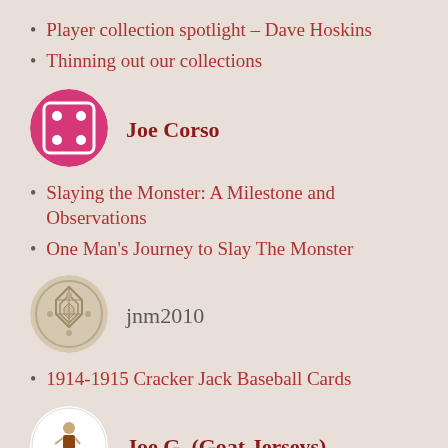Player collection spotlight – Dave Hoskins
Thinning out our collections
[Figure (illustration): Pink/magenta circular avatar with a dice showing four dots pattern, representing user Joe Corso]
Joe Corso
Slaying the Monster: A Milestone and Observations
One Man's Journey to Slay The Monster
[Figure (illustration): Circular avatar with beige/tan geometric diamond pattern, representing user jnm2010]
jnm2010
1914-1915 Cracker Jack Baseball Cards
[Figure (illustration): White circular avatar with a small illustrated figure/character, representing user Joe G. (Goat Jerseys)]
Joe G. (Goat Jerseys)
“9th Inning”